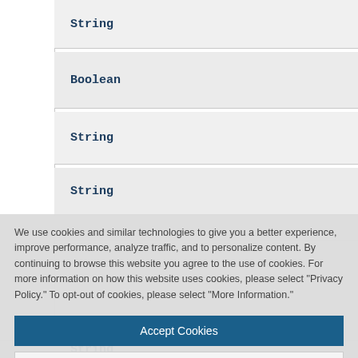String
Boolean
String
String
We use cookies and similar technologies to give you a better experience, improve performance, analyze traffic, and to personalize content. By continuing to browse this website you agree to the use of cookies. For more information on how this website uses cookies, please select "Privacy Policy." To opt-out of cookies, please select "More Information."
Accept Cookies
More Information
Privacy Policy | Powered by: TrustArc
String